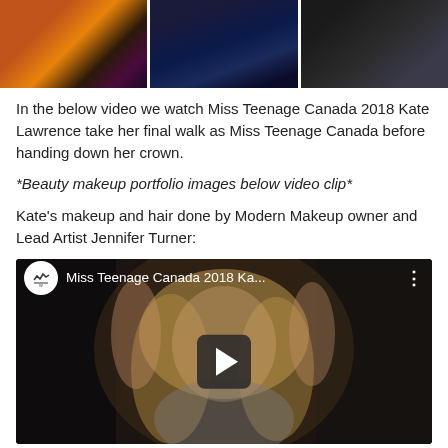[Figure (photo): Three cropped photos side by side at the top: a close-up portrait with neon/orange lighting, a person in a dark blue outfit, and a dark image with equipment/gear.]
In the below video we watch Miss Teenage Canada 2018 Kate Lawrence take her final walk as Miss Teenage Canada before handing down her crown.
*Beauty makeup portfolio images below video clip*
Kate's makeup and hair done by Modern Makeup owner and Lead Artist Jennifer Turner:
[Figure (screenshot): YouTube video embed showing a blonde woman with arms raised behind her head in a salon setting. Video title: 'Miss Teenage Canada 2018 Ka...' with channel icon and play button overlay.]